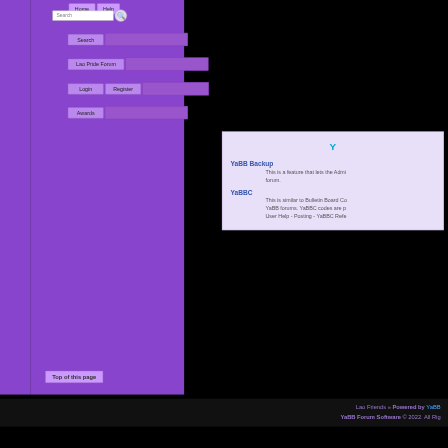Home | Help | Search
Search
Lao Pride Forum
Login | Register
Awards
Y
YaBB Backup
This is a feature that lets the Admin... forum.
YaBBC
This is similar to Bulletin Board Co... YaBB forums. YaBBC codes are p... User Help - Posting - YaBBC Refe...
Top of this page
Lao Friends » Powered by YaBB YaBB Forum Software © 2022. All Rights Reserved.